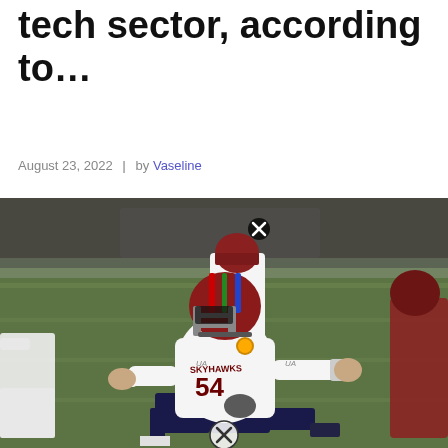How to invest in the tech sector, according to…
August 23, 2022 | by Vaseline
[Figure (photo): Football player wearing jersey number 54 with 'Skyhawks' team name, in white uniform with helmet, crouching on a football field. Another player wearing jersey number 3 visible in background.]